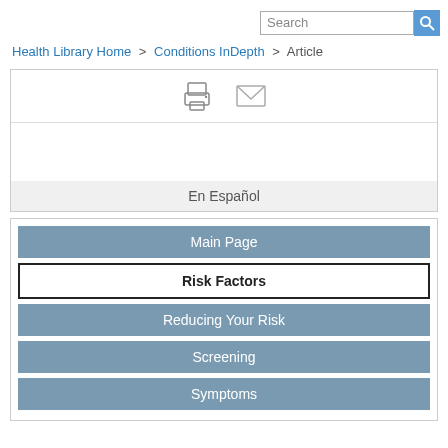Search
Health Library Home > Conditions InDepth > Article
[Figure (screenshot): Toolbar with print and email icons]
En Español
Main Page
Risk Factors
Reducing Your Risk
Screening
Symptoms